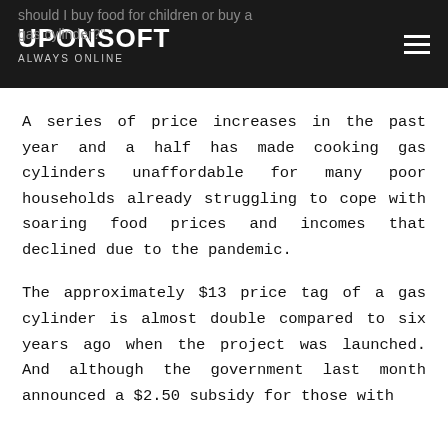UPONSOFT ALWAYS ONLINE
A series of price increases in the past year and a half has made cooking gas cylinders unaffordable for many poor households already struggling to cope with soaring food prices and incomes that declined due to the pandemic.
The approximately $13 price tag of a gas cylinder is almost double compared to six years ago when the project was launched. And although the government last month announced a $2.50 subsidy for those with